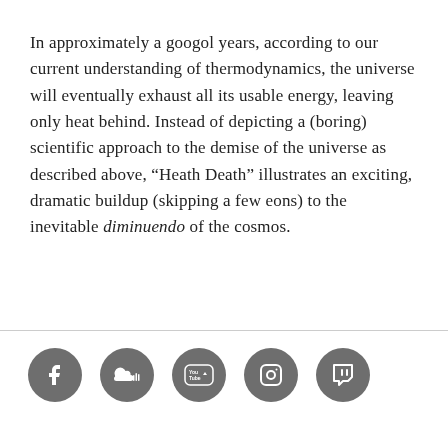In approximately a googol years, according to our current understanding of thermodynamics, the universe will eventually exhaust all its usable energy, leaving only heat behind. Instead of depicting a (boring) scientific approach to the demise of the universe as described above, "Heath Death" illustrates an exciting, dramatic buildup (skipping a few eons) to the inevitable diminuendo of the cosmos.
[Figure (other): Five social media icon circles in gray: Facebook, SoundCloud, YouTube, Instagram, Twitch]